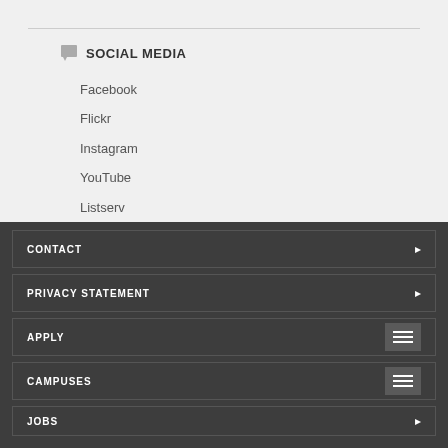SOCIAL MEDIA
Facebook
Flickr
Instagram
YouTube
Listserv
CONTACT
PRIVACY STATEMENT
APPLY
CAMPUSES
JOBS